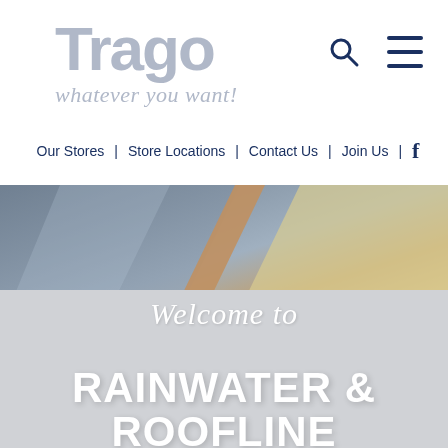[Figure (logo): Trago logo with tagline 'whatever you want!' in light grey/blue]
Our Stores  |  Store Locations  |  Contact Us  |  Join Us  |  f
[Figure (photo): Close-up photo of roofline/rainwater guttering materials in grey, orange, and cream tones]
Welcome to
RAINWATER & ROOFLINE MAINTENANCE